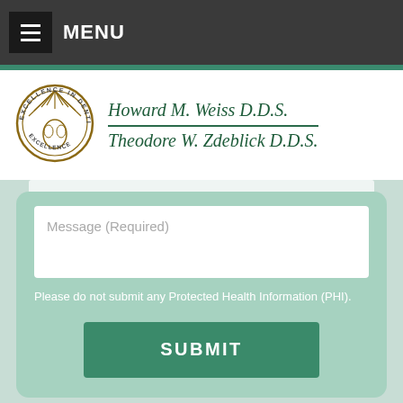MENU
[Figure (logo): Excellence in Dentistry circular seal logo with radiating lines and dental symbol]
Howard M. Weiss D.D.S. Theodore W. Zdeblick D.D.S.
Message (Required)
Please do not submit any Protected Health Information (PHI).
SUBMIT
[Figure (illustration): Accessibility icon - person in circle with wheelchair symbol]